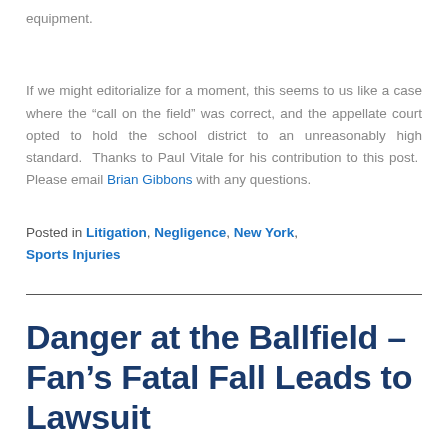equipment.
If we might editorialize for a moment, this seems to us like a case where the “call on the field” was correct, and the appellate court opted to hold the school district to an unreasonably high standard.  Thanks to Paul Vitale for his contribution to this post.  Please email Brian Gibbons with any questions.
Posted in Litigation, Negligence, New York, Sports Injuries
Danger at the Ballfield – Fan’s Fatal Fall Leads to Lawsuit